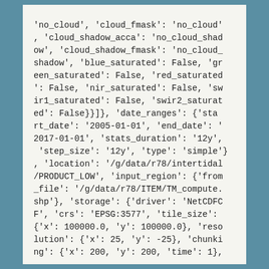'no_cloud', 'cloud_fmask': 'no_cloud', 'cloud_shadow_acca': 'no_cloud_shadow', 'cloud_shadow_fmask': 'no_cloud_shadow', 'blue_saturated': False, 'green_saturated': False, 'red_saturated': False, 'nir_saturated': False, 'swir1_saturated': False, 'swir2_saturated': False}}]}, 'date_ranges': {'start_date': '2005-01-01', 'end_date': '2017-01-01', 'stats_duration': '12y', 'step_size': '12y', 'type': 'simple'}, 'location': '/g/data/r78/intertidal/PRODUCT_LOW', 'input_region': {'from_file': '/g/data/r78/ITEM/TM_compute.shp'}, 'storage': {'driver': 'NetCDFCF', 'crs': 'EPSG:3577', 'tile_size': {'x': 100000.0, 'y': 100000.0}, 'resolution': {'x': 25, 'y': -25}, 'chunking': {'x': 200, 'y': 200, 'time': 1},